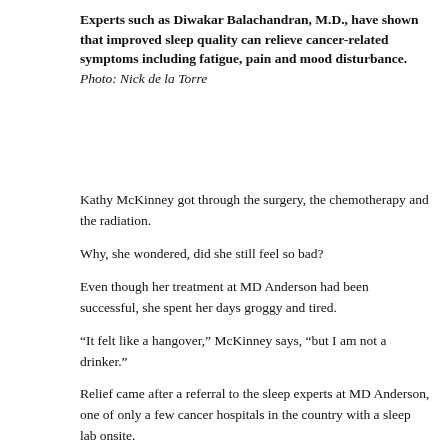Experts such as Diwakar Balachandran, M.D., have shown that improved sleep quality can relieve cancer-related symptoms including fatigue, pain and mood disturbance. Photo: Nick de la Torre
Kathy McKinney got through the surgery, the chemotherapy and the radiation.
Why, she wondered, did she still feel so bad?
Even though her treatment at MD Anderson had been successful, she spent her days groggy and tired.
“It felt like a hangover,” McKinney says, “but I am not a drinker.”
Relief came after a referral to the sleep experts at MD Anderson, one of only a few cancer hospitals in the country with a sleep lab onsite.
It just makes sense, says Diwakar Balachandran, M.D., professor of Pulmonary Medicine and sleep center director.
“Sixtypercent of all cancer patients have some type of sleep…